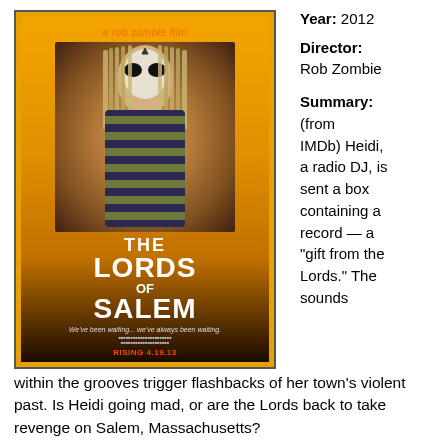[Figure (photo): Movie poster for 'The Lords of Salem', a Rob Zombie film. Shows a woman with white face paint and long dreadlocks wearing a striped sweater against an orange/yellow background. Title text reads 'THE LORDS OF SALEM'. Tagline: 'We've been waiting... we've always been waiting.' Rising 4.19.13.]
Year: 2012
Director: Rob Zombie
Summary: (from IMDb) Heidi, a radio DJ, is sent a box containing a record — a "gift from the Lords." The sounds within the grooves trigger flashbacks of her town's violent past. Is Heidi going mad, or are the Lords back to take revenge on Salem, Massachusetts?